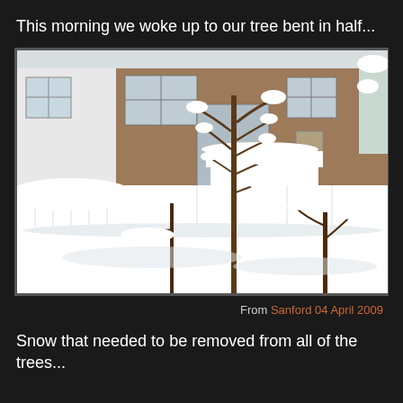This morning we woke up to our tree bent in half...
[Figure (photo): A snow-covered backyard scene showing trees laden with heavy snow, a white fence, a white bench, and a brown house in the background. Small trees and shrubs are bent under the weight of accumulated snow on the ground.]
From Sanford 04 April 2009
Snow that needed to be removed from all of the trees...